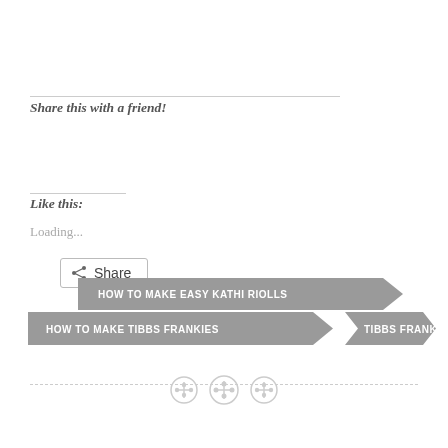Share this with a friend!
[Figure (other): Share button with share icon]
Like this:
Loading...
[Figure (infographic): Tag/banner labels: HOW TO MAKE EASY KATHI RIOLLS]
[Figure (infographic): Tag/banner labels: HOW TO MAKE TIBBS FRANKIES, TIBBS FRANKIES]